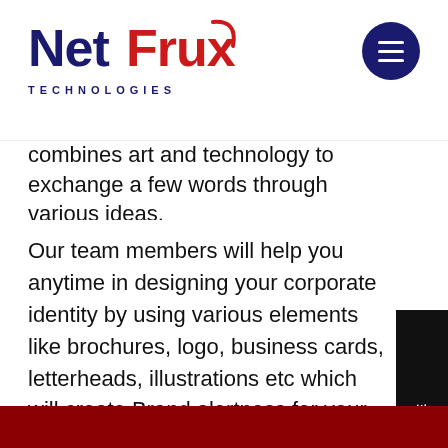NetFrux Technologies
combines art and technology to exchange a few words through various ideas.
Our team members will help you anytime in designing your corporate identity by using various elements like brochures, logo, business cards, letterheads, illustrations etc which will create Brand alertness for your organization. We gestate in accordance to organization brand and prompt you graphics that complements the theme of your business.